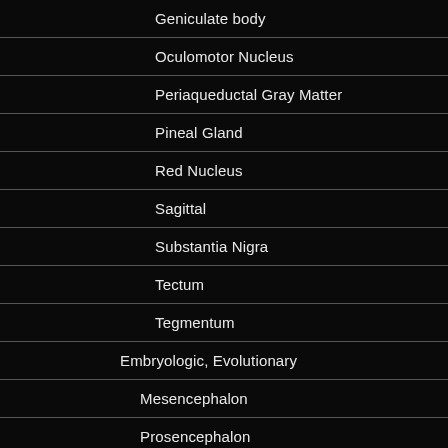Geniculate body
Oculomotor Nucleus
Periaqueductal Gray Matter
Pineal Gland
Red Nucleus
Sagittal
Substantia Nigra
Tectum
Tegmentum
Embryologic, Evolutionary
Mesencephalon
Prosencephalon